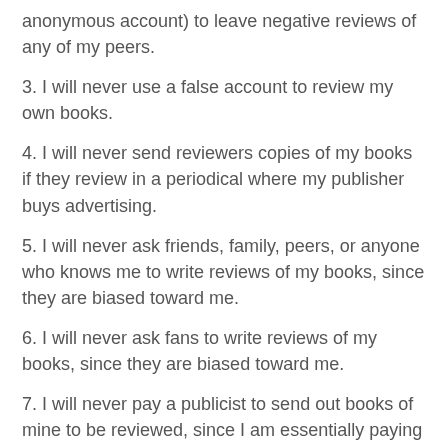anonymous account) to leave negative reviews of any of my peers.
3. I will never use a false account to review my own books.
4. I will never send reviewers copies of my books if they review in a periodical where my publisher buys advertising.
5. I will never ask friends, family, peers, or anyone who knows me to write reviews of my books, since they are biased toward me.
6. I will never ask fans to write reviews of my books, since they are biased toward me.
7. I will never pay a publicist to send out books of mine to be reviewed, since I am essentially paying someone for reviews.
8. I will never allow a publicist working for a publisher to send out books of mine to be reviewed, since they are being paid to do so.